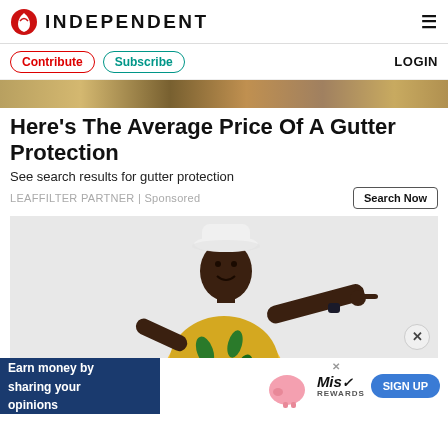INDEPENDENT
Contribute | Subscribe | LOGIN
[Figure (photo): Decorative top image strip showing partial photo]
Here's The Average Price Of A Gutter Protection
See search results for gutter protection
LEAFFILTER PARTNER | Sponsored
Search Now
[Figure (photo): Man in white hat and yellow floral shirt pointing to the right, on grey background]
Earn money by sharing your opinions
SIGN UP